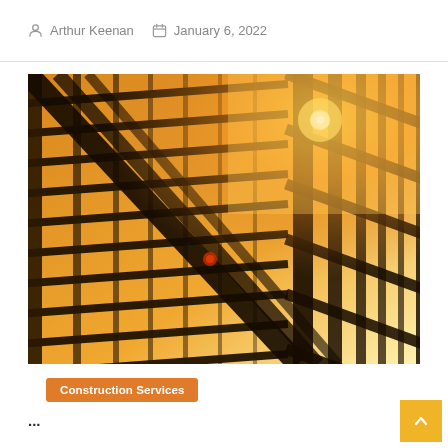Arthur Keenan   January 6, 2022
[Figure (photo): Looking up at steel construction framework of a building against bright sunlight creating an orange/golden glow, dark metal beams in a grid pattern]
Construction Services
...